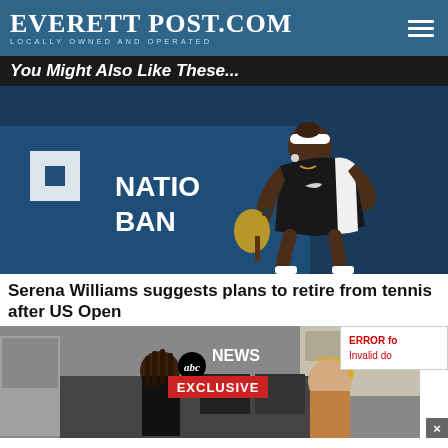EverettPost.com — Locally Owned and Operated
You Might Also Like These...
[Figure (photo): Serena Williams in a black Nike tennis outfit crouching at the baseline, with a National Bank banner in the background]
Serena Williams suggests plans to retire from tennis after US Open
[Figure (screenshot): ABC News Exclusive interview screenshot showing two women talking in a modern living room setting with ABC News Exclusive overlay]